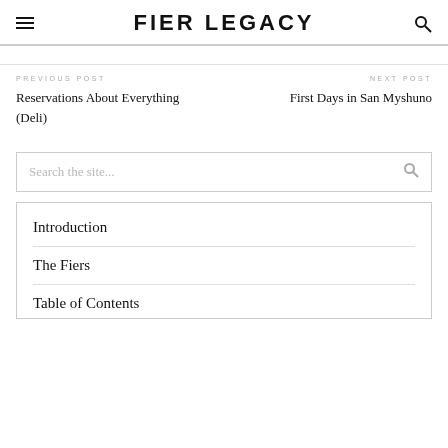FIER LEGACY
PREVIOUS POST
Reservations About Everything (Deli)
NEXT POST
First Days in San Myshuno
Search the site...
Introduction
The Fiers
Table of Contents